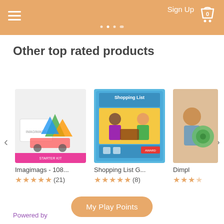Sign Up | Navigation menu | Cart (0)
Other top rated products
[Figure (screenshot): Product image for Imagimags - 108... showing magnetic building tiles and vehicles on white background]
Imagimags - 108...
★★★★★ (21)
[Figure (screenshot): Product image for Shopping List G... showing Shopping List board game box with two children]
Shopping List G...
★★★★★ (8)
[Figure (screenshot): Partial product image for Dimpl showing a child playing]
Dimpl
★★★½
My Play Points
Powered by